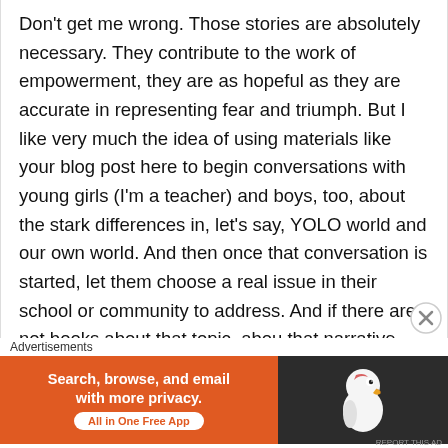Don't get me wrong. Those stories are absolutely necessary. They contribute to the work of empowerment, they are as hopeful as they are accurate in representing fear and triumph. But I like very much the idea of using materials like your blog post here to begin conversations with young girls (I'm a teacher) and boys, too, about the stark differences in, let's say, YOLO world and our own world. And then once that conversation is started, let them choose a real issue in their school or community to address. And if there are not books about that topic, abou that narrative that they see unfolding in front of them, then we get the awesome job of inviting them to write that narrative. And then to make it visible, so their words and their lives push back against the mainstream. That is what this blog post does for me — it gives me a piece
Advertisements
[Figure (infographic): DuckDuckGo advertisement banner: orange background on left with text 'Search, browse, and email with more privacy. All in One Free App' and a white button. Dark background on right with DuckDuckGo duck logo.]